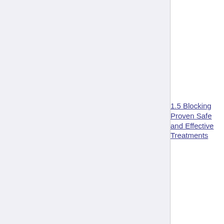UNSAFE
1.4.11 Covid Vaccines: Safer than Natural Immunity! says CDC
1.5 Blocking Proven Safe and Effective Treatments
1.5.1 Doctors and Scientists' Declaration
1.5.2 CDC Reminds People To Listen To All Medical Professionals Except For The Tens Of Thousands Who Refused The Vaccine (Satire)
1.5.3 Congressman Gohmert: Attack on Invermectin is a Crime Against Humanity
1.5.4 Brief history of HCQ suppression
1.5.5 Hydroxychloroquine - MUCH better than nothing
1.6 PCR tests Unreliable
1.7 Vaccines Kill More than they Cure
1.7.1 Total American deaths up 40% among vaccinated
1.7.2 Studies documenting vaccine deaths
1.7.3 60 times more deaths from covid vaccines than all other vaccines combined, even though thousands of reports are being deleted
1.7.4 Vaccination Doubles the Death Rate
1.7.5 German Vaccines Correlated with